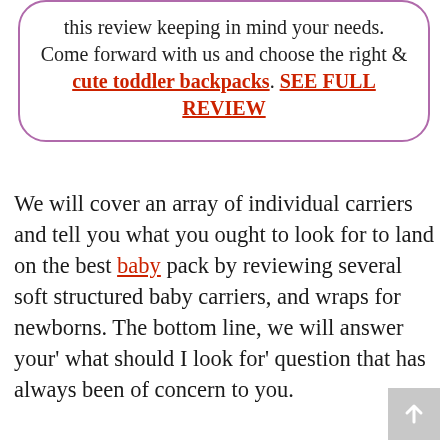this review keeping in mind your needs. Come forward with us and choose the right & cute toddler backpacks. SEE FULL REVIEW
We will cover an array of individual carriers and tell you what you ought to look for to land on the best baby pack by reviewing several soft structured baby carriers, and wraps for newborns. The bottom line, we will answer your' what should I look for' question that has always been of concern to you.